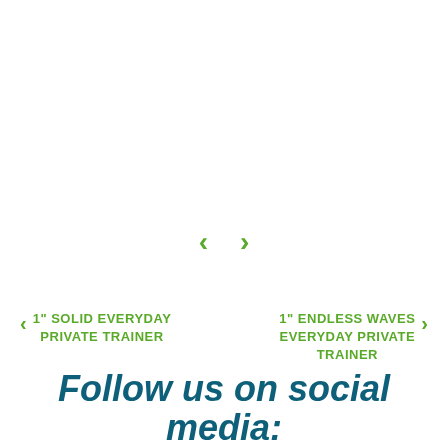[Figure (other): Navigation arrows (left chevron and right chevron) in green, centered on the page]
< 1" SOLID EVERYDAY PRIVATE TRAINER
1" ENDLESS WAVES EVERYDAY PRIVATE TRAINER >
Follow us on social media: